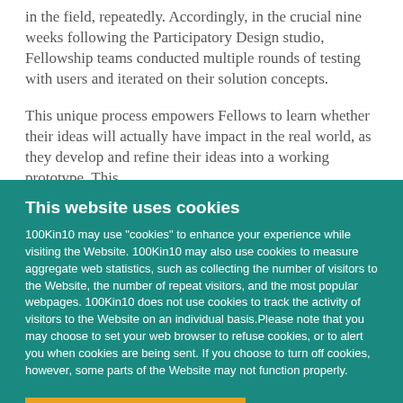in the field, repeatedly. Accordingly, in the crucial nine weeks following the Participatory Design studio, Fellowship teams conducted multiple rounds of testing with users and iterated on their solution concepts.
This unique process empowers Fellows to learn whether their ideas will actually have impact in the real world, as they develop and refine their ideas into a working prototype. This
This website uses cookies
100Kin10 may use "cookies" to enhance your experience while visiting the Website. 100Kin10 may also use cookies to measure aggregate web statistics, such as collecting the number of visitors to the Website, the number of repeat visitors, and the most popular webpages. 100Kin10 does not use cookies to track the activity of visitors to the Website on an individual basis.Please note that you may choose to set your web browser to refuse cookies, or to alert you when cookies are being sent. If you choose to turn off cookies, however, some parts of the Website may not function properly.